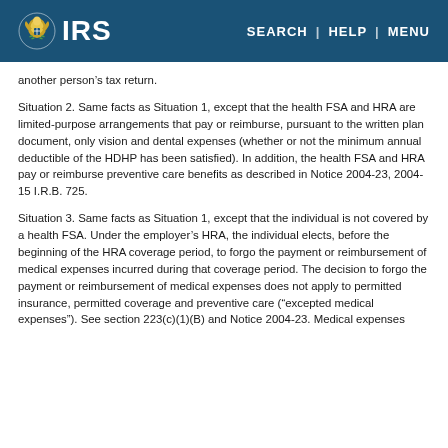IRS | SEARCH | HELP | MENU
another person's tax return.
Situation 2. Same facts as Situation 1, except that the health FSA and HRA are limited-purpose arrangements that pay or reimburse, pursuant to the written plan document, only vision and dental expenses (whether or not the minimum annual deductible of the HDHP has been satisfied). In addition, the health FSA and HRA pay or reimburse preventive care benefits as described in Notice 2004-23, 2004-15 I.R.B. 725.
Situation 3. Same facts as Situation 1, except that the individual is not covered by a health FSA. Under the employer's HRA, the individual elects, before the beginning of the HRA coverage period, to forgo the payment or reimbursement of medical expenses incurred during that coverage period. The decision to forgo the payment or reimbursement of medical expenses does not apply to permitted insurance, permitted coverage and preventive care (“excepted medical expenses”). See section 223(c)(1)(B) and Notice 2004-23. Medical expenses